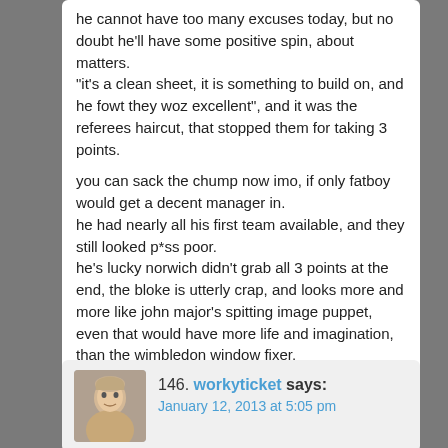he cannot have too many excuses today, but no doubt he'll have some positive spin, about matters. "it's a clean sheet, it is something to build on, and he fowt they woz excellent", and it was the referees haircut, that stopped them for taking 3 points.

you can sack the chump now imo, if only fatboy would get a decent manager in.
he had nearly all his first team available, and they still looked p*ss poor.
he's lucky norwich didn't grab all 3 points at the end, the bloke is utterly crap, and looks more and more like john major's spitting image puppet, even that would have more life and imagination, than the wimbledon window fixer.
146. workyticket says: January 12, 2013 at 5:05 pm